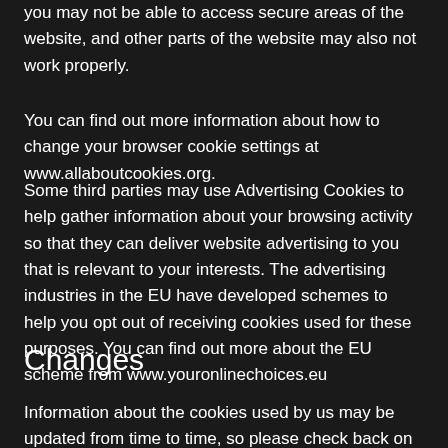you may not be able to access secure areas of the website, and other parts of the website may also not work properly.
You can find out more information about how to change your browser cookie settings at www.allaboutcookies.org.
Some third parties may use Advertising Cookies to help gather information about your browsing activity so that they can deliver website advertising to you that is relevant to your interests. The advertising industries in the EU have developed schemes to help you opt out of receiving cookies used for these purposes. You can find out more about the EU scheme from www.youronlinechoices.eu
Changes
Information about the cookies used by us may be updated from time to time, so please check back on a regular basis